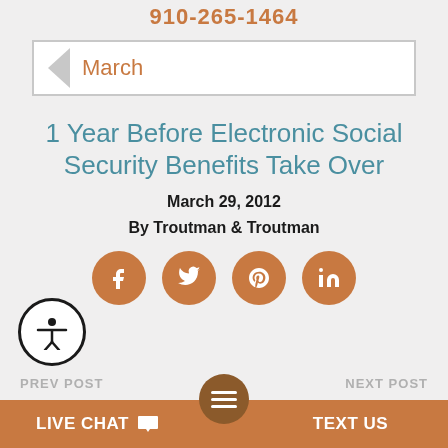910-265-1464
March
1 Year Before Electronic Social Security Benefits Take Over
March 29, 2012
By Troutman & Troutman
[Figure (infographic): Four social media sharing icons: Facebook, Twitter, Pinterest, LinkedIn — gold/brown circles with white icons]
PREV POST   NEXT POST
LIVE CHAT   TEXT US